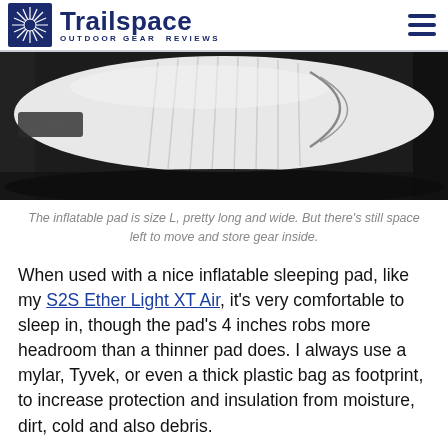Trailspace OUTDOOR GEAR REVIEWS
[Figure (photo): Photo of a large white inflatable sleeping pad inside a dark hammock, showing the pad nearly filling the hammock width with some space remaining around the edges.]
The inflatable pad is size L, pretty long and wide. But there's still space left to move and store gear inside.
When used with a nice inflatable sleeping pad, like my S2S Ether Light XT Air, it's very comfortable to sleep in, though the pad's 4 inches robs more headroom than a thinner pad does. I always use a mylar, Tyvek, or even a thick plastic bag as footprint, to increase protection and insulation from moisture, dirt, cold and also debris.
After years of abuse, I'm yet to perform some repair on